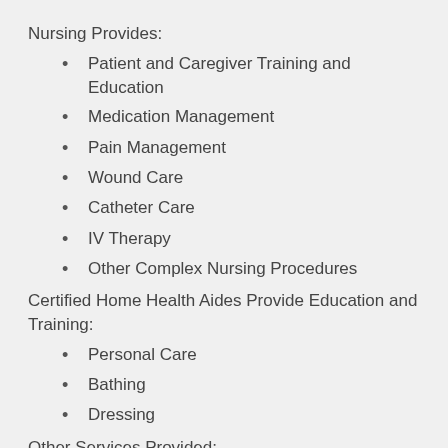Nursing Provides:
Patient and Caregiver Training and Education
Medication Management
Pain Management
Wound Care
Catheter Care
IV Therapy
Other Complex Nursing Procedures
Certified Home Health Aides Provide Education and Training:
Personal Care
Bathing
Dressing
Other Services Provided:
Physical Therapy